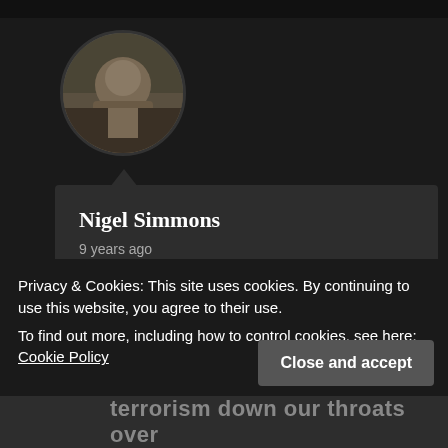[Figure (photo): Circular avatar photo showing a person outdoors, dark and muted tones]
Nigel Simmons
9 years ago
BROKEN BRITISH POLITICS –
Privacy & Cookies: This site uses cookies. By continuing to use this website, you agree to their use.
To find out more, including how to control cookies, see here: Cookie Policy
Close and accept
Terrorism down our throats over